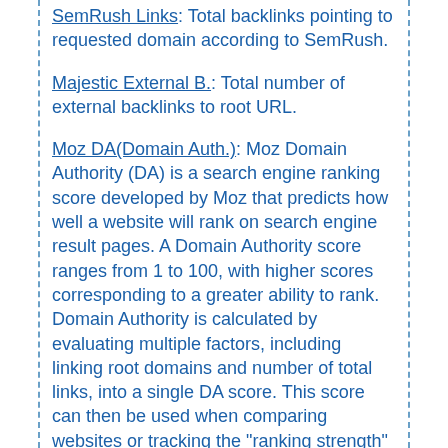SemRush Links: Total backlinks pointing to requested domain according to SemRush.
Majestic External B.: Total number of external backlinks to root URL.
Moz DA(Domain Auth.): Moz Domain Authority (DA) is a search engine ranking score developed by Moz that predicts how well a website will rank on search engine result pages. A Domain Authority score ranges from 1 to 100, with higher scores corresponding to a greater ability to rank. Domain Authority is calculated by evaluating multiple factors, including linking root domains and number of total links, into a single DA score. This score can then be used when comparing websites or tracking the "ranking strength" of a website over time. Domain Authority is not a metric used by Google in determining search rankings and has no effect